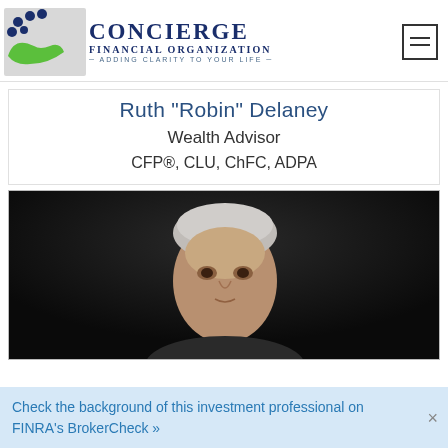[Figure (logo): Concierge Financial Organization logo with green hand and blue dots, text reads CONCIERGE FINANCIAL ORGANIZATION ADDING CLARITY TO YOUR LIFE]
Ruth "Robin" Delaney
Wealth Advisor
CFP®, CLU, ChFC, ADPA
[Figure (photo): Professional headshot photo of a person with gray/white hair against a dark background]
Check the background of this investment professional on FINRA's BrokerCheck »